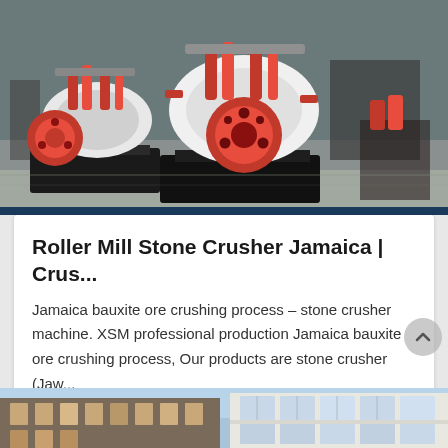[Figure (photo): Industrial stone crusher machinery in a factory setting — white and red cone crushers on black bases, photographed indoors with grey floor]
Roller Mill Stone Crusher Jamaica | Crus...
Jamaica bauxite ore crushing process – stone crusher machine. XSM professional production Jamaica bauxite ore crushing process, Our products are stone crusher (Jaw...
[Figure (photo): Exterior photo of industrial or commercial buildings — multi-storey structures with large windows against a blue sky]